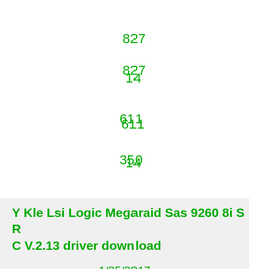827
14
611
350
Y Kle Lsi Logic Megaraid Sas 9260 8i S R C V.2.13 driver download
1/25/2017